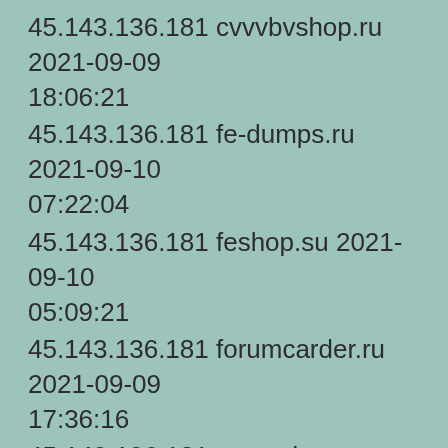45.143.136.181 cvvvbvshop.ru 2021-09-09 18:06:21
45.143.136.181 fe-dumps.ru 2021-09-10 07:22:04
45.143.136.181 feshop.su 2021-09-10 05:09:21
45.143.136.181 forumcarder.ru 2021-09-09 17:36:16
45.143.136.181 great-dumps.ru 2021-09-09 22:06:37
45.143.136.181 honeymoney24.ru 2021-09-09 19:39:02
45.143.136.181 mail.buycconline.ru 2021-09-...